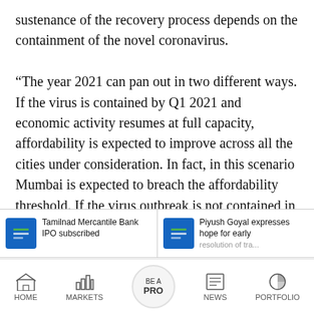sustenance of the recovery process depends on the containment of the novel coronavirus.

“The year 2021 can pan out in two different ways. If the virus is contained by Q1 2021 and economic activity resumes at full capacity, affordability is expected to improve across all the cities under consideration. In fact, in this scenario Mumbai is expected to breach the affordability threshold. If the virus outbreak is not contained in the first quarter of 2021 and economic activity remains subdued, affordability levels are likely to remain at
Tamilnad Mercantile Bank IPO subscribed 90% on last day; QIB
Piyush Goyal expresses hope for early resolution of trade
HOME   MARKETS   BE A PRO   NEWS   PORTFOLIO